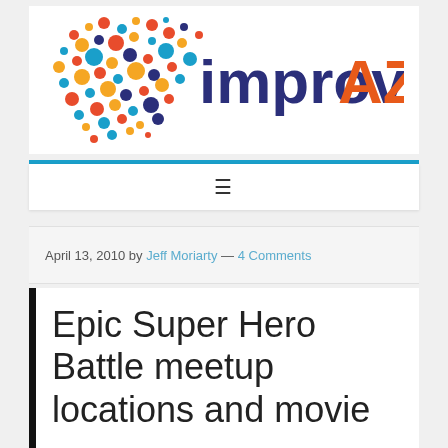[Figure (logo): improvAZ logo with colorful dots pattern on the left and 'improvAZ' text where 'improv' is dark navy and 'AZ' is orange]
≡
April 13, 2010 by Jeff Moriarty — 4 Comments
Epic Super Hero Battle meetup locations and movie